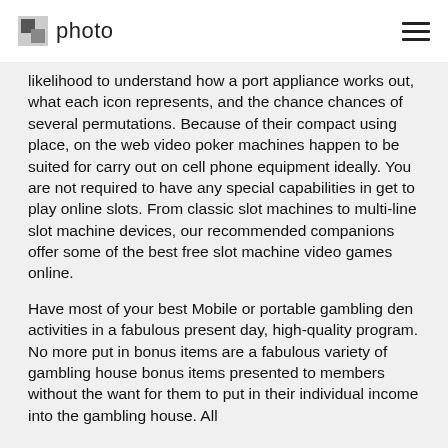photo
likelihood to understand how a port appliance works out, what each icon represents, and the chance chances of several permutations. Because of their compact using place, on the web video poker machines happen to be suited for carry out on cell phone equipment ideally. You are not required to have any special capabilities in get to play online slots. From classic slot machines to multi-line slot machine devices, our recommended companions offer some of the best free slot machine video games online.
Have most of your best Mobile or portable gambling den activities in a fabulous present day, high-quality program. No more put in bonus items are a fabulous variety of gambling house bonus items presented to members without the want for them to put in their individual income into the gambling house. All